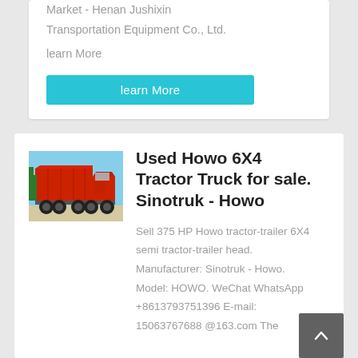Market - Henan Jushixin Transportation Equipment Co., Ltd.
learn More
learn More
[Figure (photo): Red Howo dump truck photographed from the side against a blue sky]
Used Howo 6X4 Tractor Truck for sale. Sinotruk - Howo
Sell 375 HP Howo tractor-trailer 6X4 semi tractor-trailer head. Manufacturer: Sinotruk - Howo. Model: HOWO. WeChat WhatsApp +8613793751396 E-mail: 15063767688 @163.com The